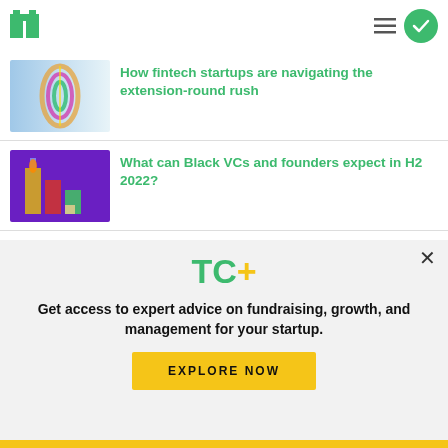TechCrunch — TC logo and navigation
How fintech startups are navigating the extension-round rush
[Figure (photo): Colorful spiral/coil object on blue background]
What can Black VCs and founders expect in H2 2022?
[Figure (photo): Colorful bar chart blocks on purple background]
4 principles for building an MVP even if you can't write a single line of code
[Figure (photo): Balanced stones on beach]
Get access to expert advice on fundraising, growth, and management for your startup.
EXPLORE NOW